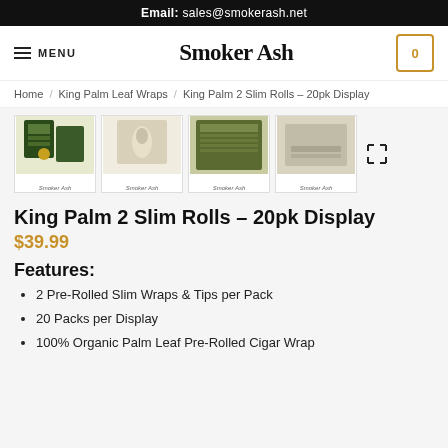Email: sales@smokerash.net
[Figure (logo): Smoker Ash navigation bar with menu icon, site title 'Smoker Ash', and cart icon showing 0]
Home / King Palm Leaf Wraps / King Palm 2 Slim Rolls – 20pk Display
[Figure (photo): Four product thumbnail images of King Palm 2 Slim Rolls with Smoker Ash watermark, plus expand icon]
King Palm 2 Slim Rolls – 20pk Display
$39.99
Features:
2 Pre-Rolled Slim Wraps & Tips per Pack
20 Packs per Display
100% Organic Palm Leaf Pre-Rolled Cigar Wrap